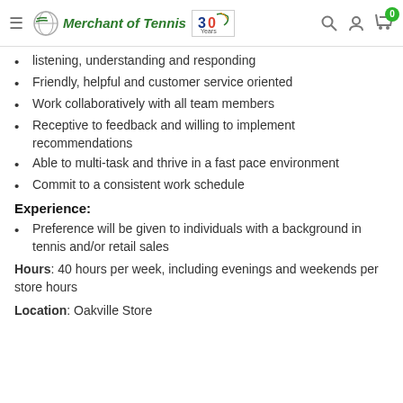Merchant of Tennis — 30 Years
listening, understanding and responding
Friendly, helpful and customer service oriented
Work collaboratively with all team members
Receptive to feedback and willing to implement recommendations
Able to multi-task and thrive in a fast pace environment
Commit to a consistent work schedule
Experience:
Preference will be given to individuals with a background in tennis and/or retail sales
Hours: 40 hours per week, including evenings and weekends per store hours
Location: Oakville Store